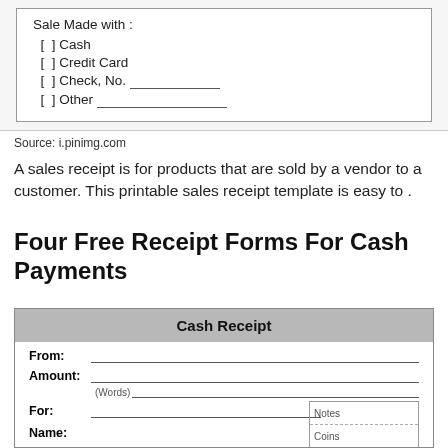[Figure (screenshot): Partial view of a sales receipt form showing checkboxes for payment methods: Cash, Credit Card, Check No., and Other with blank lines]
Source: i.pinimg.com
A sales receipt is for products that are sold by a vendor to a customer. This printable sales receipt template is easy to .
Four Free Receipt Forms For Cash Payments
[Figure (other): Cash Receipt form with fields for From, Amount (with Words line), For, Notes, Coins, and Name]
Cash Receipt
From:
Amount:
(Words)
For:
Notes
Coins
Name: